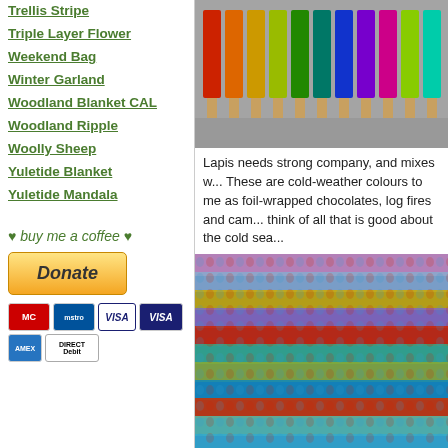Trellis Stripe
Triple Layer Flower
Weekend Bag
Winter Garland
Woodland Blanket CAL
Woodland Ripple
Woolly Sheep
Yuletide Blanket
Yuletide Mandala
♥ buy me a coffee ♥
[Figure (photo): Donate button with PayPal and payment card icons (Mastercard, Maestro, VISA, VISA, Amex, Direct Debit)]
[Figure (photo): Colorful yarn spools/bobbins arranged in a row showing various colors including red, orange, yellow, green, blue, purple]
Lapis needs strong company, and mixes with these. These are cold-weather colours to me as they make me think of foil-wrapped chocolates, log fires and candles, and think of all that is good about the cold sea...
[Figure (photo): Close-up of colorful crochet fabric showing textured stitches in multiple colors including blue, teal, red, green, purple, gold, pink]